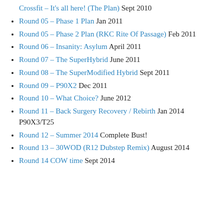Crossfit – It's all here! (The Plan) Sept 2010
Round 05 – Phase 1 Plan Jan 2011
Round 05 – Phase 2 Plan (RKC Rite Of Passage) Feb 2011
Round 06 – Insanity: Asylum April 2011
Round 07 – The SuperHybrid June 2011
Round 08 – The SuperModified Hybrid Sept 2011
Round 09 – P90X2 Dec 2011
Round 10 – What Choice? June 2012
Round 11 – Back Surgery Recovery / Rebirth Jan 2014 P90X3/T25
Round 12 – Summer 2014 Complete Bust!
Round 13 – 30WOD (R12 Dubstep Remix) August 2014
Round 14 COW time Sept 2014